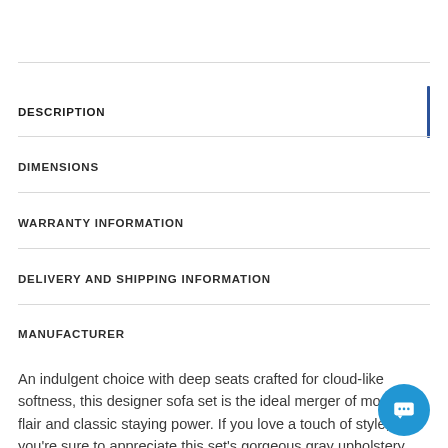DESCRIPTION
DIMENSIONS
WARRANTY INFORMATION
DELIVERY AND SHIPPING INFORMATION
MANUFACTURER
An indulgent choice with deep seats crafted for cloud-like softness, this designer sofa set is the ideal merger of modern flair and classic staying power. If you love a touch of style, you're sure to appreciate this set's gorgeous gray upholstery with subtle chevron effect. Posh toss pillows layered over the